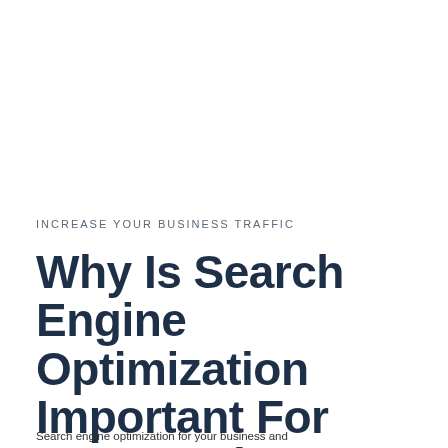INCREASE YOUR BUSINESS TRAFFIC
Why Is Search Engine Optimization Important For Your Business?
Search engine optimization for your business and